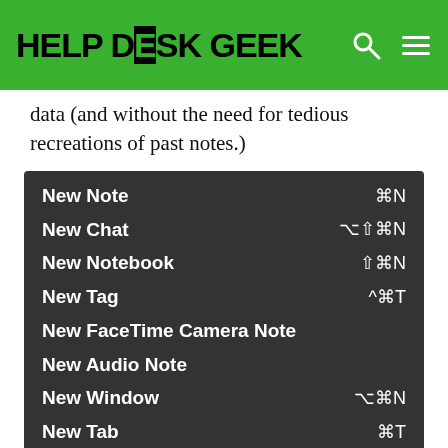HELP DESK GEEK
data (and without the need for tedious recreations of past notes.)
[Figure (screenshot): Dark-themed menu screenshot showing Evernote menu items: New Note (⌘N), New Chat (⌥⇧⌘N), New Notebook (⇧⌘N), New Tag (^⌘T), New FaceTime Camera Note, New Audio Note, New Window (⌥⌘N), New Tab (⌘T)]
It's entirely possible to be productive with Evernote using only the web application, but it's also a bit reckless. If you want to ensure your notes are backed